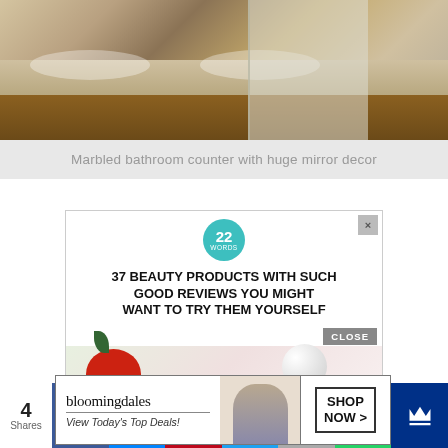[Figure (photo): Marbled bathroom counter with granite countertop, wooden cabinets, double sink, and glass shower door]
Marbled bathroom counter with huge mirror decor
[Figure (infographic): Advertisement: 37 Beauty Products With Such Good Reviews You Might Want To Try Them Yourself - 22 Words. With Bloomingdales sub-ad showing View Today's Top Deals and SHOP NOW button.]
This website uses cookies to improve your experience. We'll assume you're ok with this, but you can opt-out if you wish.
[Figure (infographic): Social share bar with 4 Shares count, Facebook, Messenger, Pinterest (4), Twitter, Email, WhatsApp, and save icons]